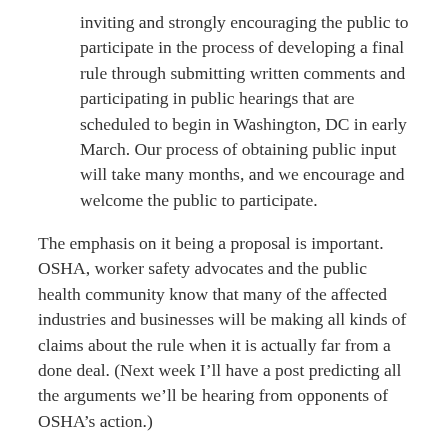inviting and strongly encouraging the public to participate in the process of developing a final rule through submitting written comments and participating in public hearings that are scheduled to begin in Washington, DC in early March. Our process of obtaining public input will take many months, and we encourage and welcome the public to participate.
The emphasis on it being a proposal is important.  OSHA, worker safety advocates and the public health community know that many of the affected industries and businesses will be making all kinds of claims about the rule when it is actually far from a done deal. (Next week I’ll have a post predicting all the arguments we’ll be hearing from opponents of OSHA’s action.)
Following OSHA’s announcement, the American Thoracic Society (ATS), the “world’s leading medical association